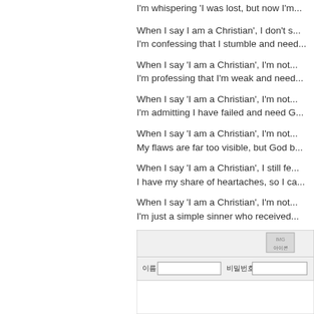I'm whispering 'I was lost, but now I'm...
When I say I am a Christian', I don't s...
I'm confessing that I stumble and need...
When I say 'I am a Christian', I'm not...
I'm professing that I'm weak and need...
When I say 'I am a Christian', I'm not...
I'm admitting I have failed and need G...
When I say 'I am a Christian', I'm not...
My flaws are far too visible, but God...
When I say 'I am a Christian', I still fe...
I have my share of heartaches, so I ca...
When I say 'I am a Christian', I'm not...
I'm just a simple sinner who received...
[Figure (screenshot): A web form UI with input fields labeled in Korean characters, an icon placeholder in the top right, and a text area at the bottom.]